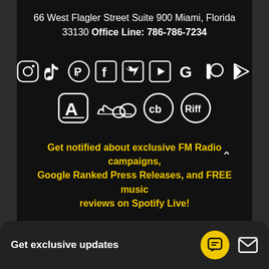66 West Flagler Street Suite 900 Miami, Florida 33130 Office Line: 786-786-7234
[Figure (infographic): Row of social media icons: Instagram, TikTok, Pinterest, Facebook, Twitter, YouTube, Google, Patreon, Google Play; second row: App Store, SoundCloud, Crunchbase, Riff]
Get notified about exclusive FM Radio campaigns, Google Ranked Press Releases, and FREE music reviews on Spotify Live!
Get exclusive updates